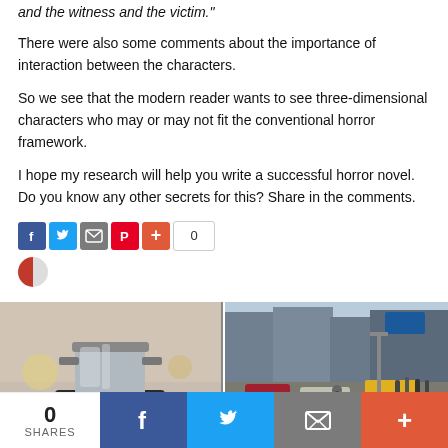and the witness and the victim."
There were also some comments about the importance of interaction between the characters.
So we see that the modern reader wants to see three-dimensional characters who may or may not fit the conventional horror framework.
I hope my research will help you write a successful horror novel. Do you know any other secrets for this? Share in the comments.
[Figure (other): Social sharing buttons: Facebook, Twitter, Email, Pinterest, Plus, and share count showing 0]
[Figure (photo): Left photo: a metal pot on a gas stove with blue flame]
[Figure (photo): Right photo: a busy city street scene with a person being knocked down]
0 SHARES | Facebook | Twitter | Email | Plus